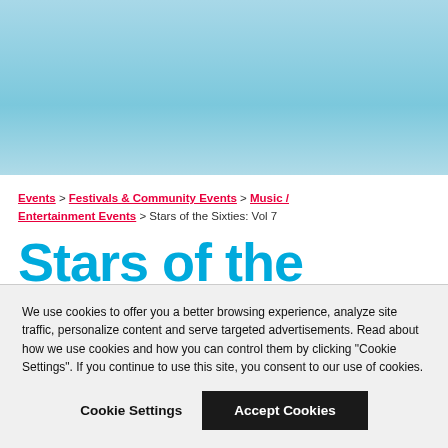[Figure (illustration): Light blue sky/gradient hero image area at the top of the page]
Events > Festivals & Community Events > Music / Entertainment Events > Stars of the Sixties: Vol 7
Stars of the Sixties: Vol 7
We use cookies to offer you a better browsing experience, analyze site traffic, personalize content and serve targeted advertisements. Read about how we use cookies and how you can control them by clicking "Cookie Settings". If you continue to use this site, you consent to our use of cookies.
Cookie Settings | Accept Cookies